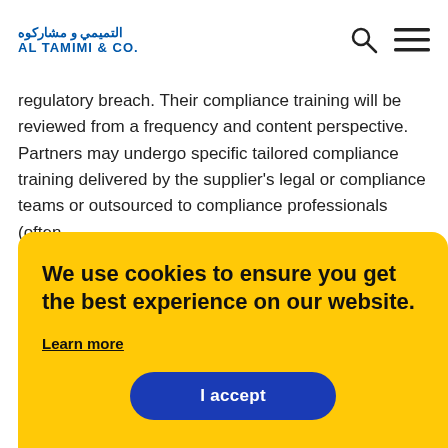[Figure (logo): Al Tamimi & Co. law firm logo in Arabic and English, blue text]
regulatory breach. Their compliance training will be reviewed from a frequency and content perspective. Partners may undergo specific tailored compliance training delivered by the supplier's legal or compliance teams or outsourced to compliance professionals (often
We use cookies to ensure you get the best experience on our website.

Learn more

I accept